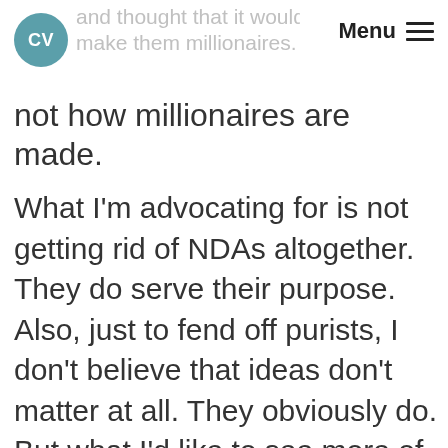CV | Menu
and thought that it would magically make them millionaires. But that not how millionaires are made.
What I'm advocating for is not getting rid of NDAs altogether. They do serve their purpose. Also, just to fend off purists, I don't believe that ideas don't matter at all. They obviously do. But what I'd like to see more of is founders who understand that sharing ideas is an advantage, not a danger. Founders need to understand that in product design keeping your cards close to your chest is detrimental; the more